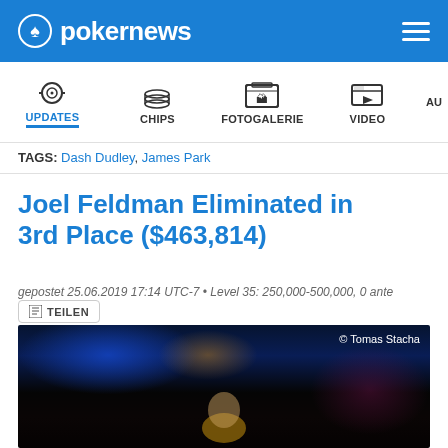pokernews
UPDATES | CHIPS | FOTOGALERIE | VIDEO | AU
TAGS: Dash Dudley, James Park
Joel Feldman Eliminated in 3rd Place ($463,814)
gepostet 25.06.2019 17:14 UTC-7 • Level 35: 250,000-500,000, 0 ante
TEILEN
[Figure (photo): Photo of a person at poker table in dark venue with blue lighting, © Tomas Stacha]